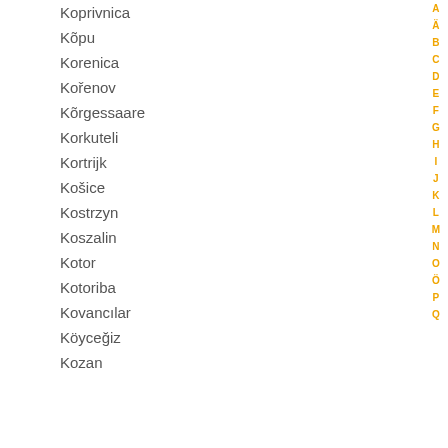Koprivnica
Kõpu
Korenica
Kořenov
Kõrgessaare
Korkuteli
Kortrijk
Košice
Kostrzyn
Koszalin
Kotor
Kotoriba
Kovancılar
Köyceğiz
Kozan